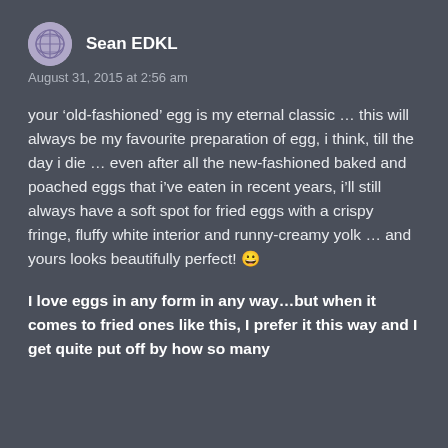[Figure (illustration): Round avatar icon with globe/grid pattern in muted purple]
Sean EDKL
August 31, 2015 at 2:56 am
your ‘old-fashioned’ egg is my eternal classic … this will always be my favourite preparation of egg, i think, till the day i die … even after all the new-fashioned baked and poached eggs that i’ve eaten in recent years, i’ll still always have a soft spot for fried eggs with a crispy fringe, fluffy white interior and runny-creamy yolk … and yours looks beautifully perfect! 😀
I love eggs in any form in any way…but when it comes to fried ones like this, I prefer it this way and I get quite put off by how so many